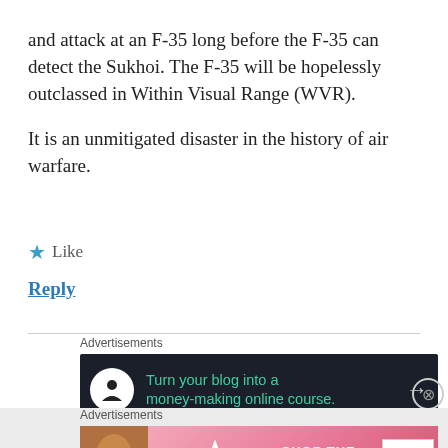and attack at an F-35 long before the F-35 can detect the Sukhoi. The F-35 will be hopelessly outclassed in Within Visual Range (WVR).
It is an unmitigated disaster in the history of air warfare.
★ Like
Reply
Advertisements
[Figure (other): Advertisement banner: dark background with circular icon, green text 'Turn your blog into a money-making online course.' and arrow]
Advertisements
[Figure (other): Victoria's Secret advertisement with pink background, model photo, VS logo, SHOP THE COLLECTION text, and SHOP NOW button]